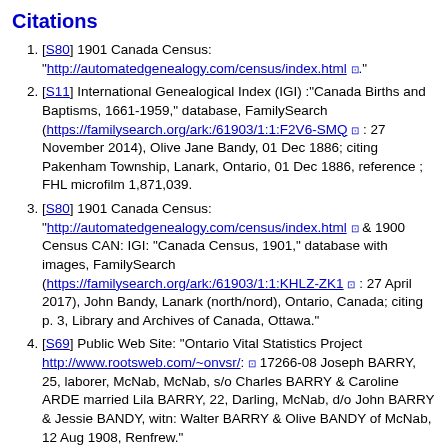Citations
[S80] 1901 Canada Census: "http://automatedgenealogy.com/census/index.html"."
[S11] International Genealogical Index (IGI) :"Canada Births and Baptisms, 1661-1959," database, FamilySearch (https://familysearch.org/ark:/61903/1:1:F2V6-SMQ : 27 November 2014), Olive Jane Bandy, 01 Dec 1886; citing Pakenham Township, Lanark, Ontario, 01 Dec 1886, reference ; FHL microfilm 1,871,039.
[S80] 1901 Canada Census: "http://automatedgenealogy.com/census/index.html" & 1900 Census CAN: IGI: "Canada Census, 1901," database with images, FamilySearch (https://familysearch.org/ark:/61903/1:1:KHLZ-ZK1 : 27 April 2017), John Bandy, Lanark (north/nord), Ontario, Canada; citing p. 3, Library and Archives of Canada, Ottawa."
[S69] Public Web Site: "Ontario Vital Statistics Project http://www.rootsweb.com/~onvsr/: 17266-08 Joseph BARRY, 25, laborer, McNab, McNab, s/o Charles BARRY & Caroline ARDE married Lila BARRY, 22, Darling, McNab, d/o John BARRY & Jessie BANDY, witn: Walter BARRY & Olive BANDY of McNab, 12 Aug 1908, Renfrew."
[S87] 1911 Canada Census: "1911 / Ontario / Lanark North / 9 Pakenham / page 2."
[S11] International Genealogical Index (IGI).
Last Edited    19 Sep 2017